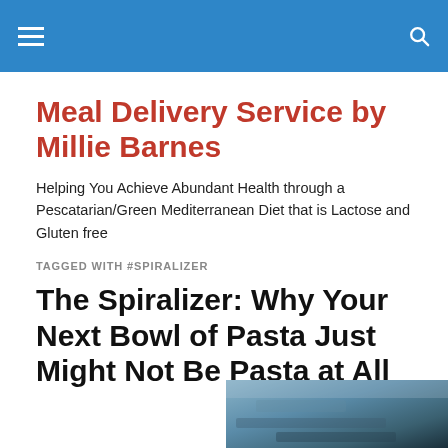Meal Delivery Service by Millie Barnes [site header bar with hamburger menu and search icon]
Meal Delivery Service by Millie Barnes
Helping You Achieve Abundant Health through a Pescatarian/Green Mediterranean Diet that is Lactose and Gluten free
TAGGED WITH #SPIRALIZER
The Spiralizer: Why Your Next Bowl of Pasta Just Might Not Be Pasta at All
[Figure (photo): Partial photo of a food/spiralizer dish, partially visible at bottom right of page]